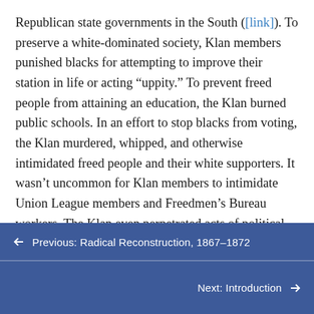Republican state governments in the South ([link]). To preserve a white-dominated society, Klan members punished blacks for attempting to improve their station in life or acting “uppity.” To prevent freed people from attaining an education, the Klan burned public schools. In an effort to stop blacks from voting, the Klan murdered, whipped, and otherwise intimidated freed people and their white supporters. It wasn’t uncommon for Klan members to intimidate Union League members and Freedmen’s Bureau workers. The Klan even perpetrated acts of political assassination, killing a sitting U.S. congressman from Arkansas and three state congressmen from South Carolina.
← Previous: Radical Reconstruction, 1867–1872
Next: Introduction →